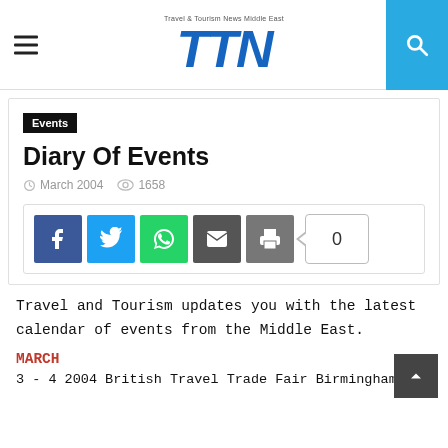TTN – Travel & Tourism News Middle East
Diary Of Events
Events
March 2004   1658
[Figure (screenshot): Social sharing buttons: Facebook, Twitter, WhatsApp, Email, Print, and a share count showing 0]
Travel and Tourism updates you with the latest calendar of events from the Middle East.
MARCH
3 - 4 2004 British Travel Trade Fair Birmingham, UK